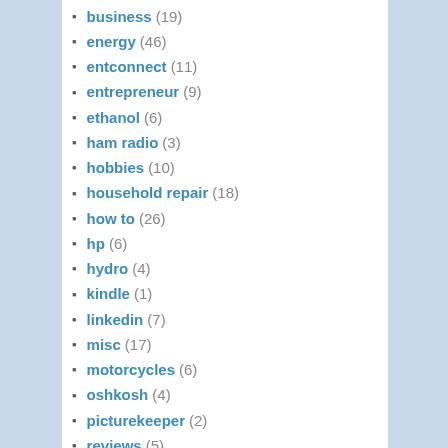business (19)
energy (46)
entconnect (11)
entrepreneur (9)
ethanol (6)
ham radio (3)
hobbies (10)
household repair (18)
how to (26)
hp (6)
hydro (4)
kindle (1)
linkedin (7)
misc (17)
motorcycles (6)
oshkosh (4)
picturekeeper (2)
reviews (5)
technology (83)
travel (37)
Uncategorized (22)